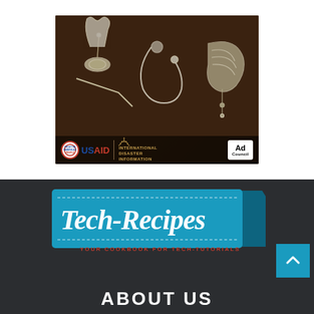[Figure (photo): Dark brown background advertisement image showing medical/disaster items (stethoscope, bandages, IV bag) with USAID, International Disaster Information, and Ad Council logos at the bottom]
[Figure (logo): Tech-Recipes logo: teal/blue banner with cursive white 'Tech-Recipes' text and red tagline 'YOUR COOKBOOK FOR TECH-TUTORIALS']
ABOUT US